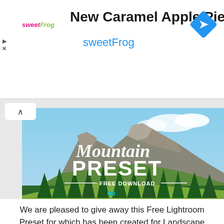[Figure (advertisement): SweetFrog advertisement banner with logo, title 'New Caramel Apple Pie Swirl', subtitle 'sweetFrog', and a blue diamond navigation icon on the right.]
[Figure (photo): Mountain landscape photo with overlay text 'Mountain PRESET — FREE DOWNLOAD —' with Lightroom logo and 'FREE ADOBE LIGHTROOM PRESET' label. Social share buttons (Facebook, Twitter, Plus) below the image.]
We are pleased to give away this Free Lightroom Preset for which has been created for Landscape photography taken in the mountains, it adds a nice